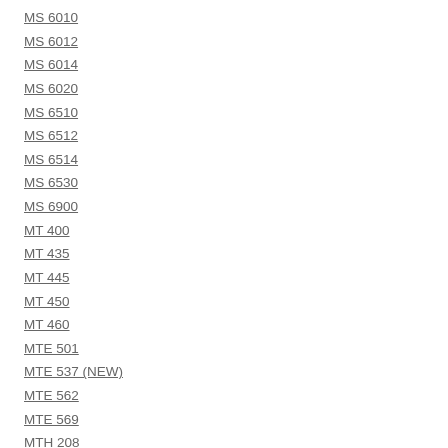MS 6010
MS 6012
MS 6014
MS 6020
MS 6510
MS 6512
MS 6514
MS 6530
MS 6900
MT 400
MT 435
MT 445
MT 450
MT 460
MTE 501
MTE 537 (NEW)
MTE 562
MTE 569
MTH 208